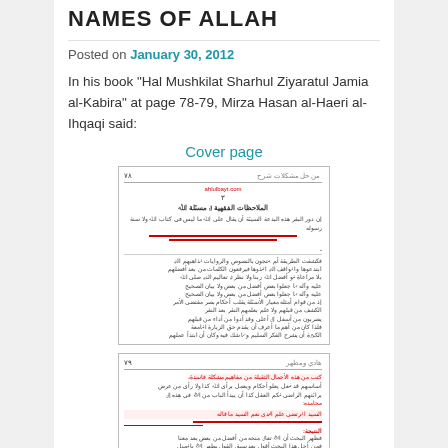NAMES OF ALLAH
Posted on January 30, 2012
In his book “Hal Mushkilat Sharhul Ziyaratul Jamia al-Kabira” at page 78-79, Mirza Hasan al-Haeri al-Ihqaqi said:
Cover page
[Figure (photo): Scanned page of an Arabic book with red underlined text, showing Arabic script content]
[Figure (photo): Scanned page of an Arabic book with red highlighted/underlined passages, page 2]